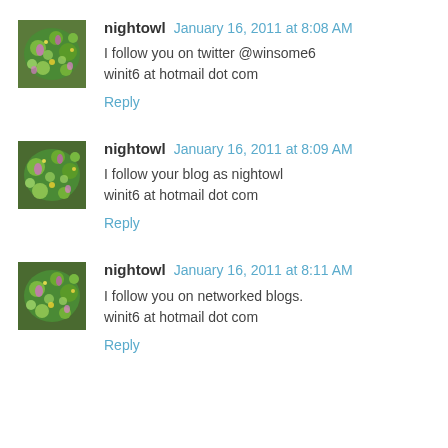nightowl  January 16, 2011 at 8:08 AM
I follow you on twitter @winsome6
winit6 at hotmail dot com
Reply
nightowl  January 16, 2011 at 8:09 AM
I follow your blog as nightowl
winit6 at hotmail dot com
Reply
nightowl  January 16, 2011 at 8:11 AM
I follow you on networked blogs.
winit6 at hotmail dot com
Reply